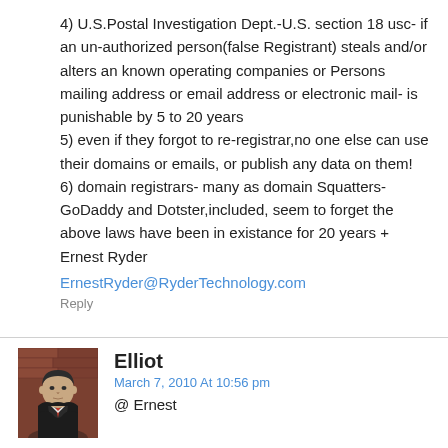4) U.S.Postal Investigation Dept.-U.S. section 18 usc- if an un-authorized person(false Registrant) steals and/or alters an known operating companies or Persons mailing address or email address or electronic mail- is punishable by 5 to 20 years
5) even if they forgot to re-registrar,no one else can use their domains or emails, or publish any data on them!
6) domain registrars- many as domain Squatters- GoDaddy and Dotster,included, seem to forget the above laws have been in existance for 20 years +
Ernest Ryder
ErnestRyder@RyderTechnology.com
Reply
Elliot
March 7, 2010 At 10:56 pm
@ Ernest